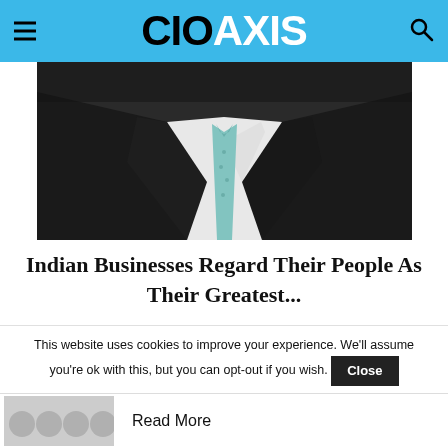CIOAXIS
[Figure (photo): Close-up of a businessman in a dark suit and light teal/blue tie, torso only visible, white shirt underneath]
Indian Businesses Regard Their People As Their Greatest...
This website uses cookies to improve your experience. We'll assume you're ok with this, but you can opt-out if you wish. Close
Read More